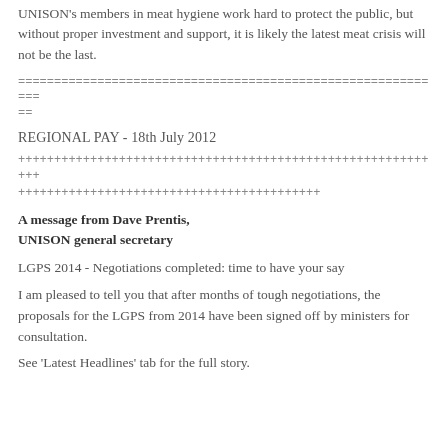UNISON's members in meat hygiene work hard to protect the public, but without proper investment and support, it is likely the latest meat crisis will not be the last.
==============================================================
REGIONAL PAY - 18th July 2012
+++++++++++++++++++++++++++++++++++++++++++++++++++++++++++++++++++++++++++++++++++++++++++++++
A message from Dave Prentis, UNISON general secretary
LGPS 2014 - Negotiations completed: time to have your say
I am pleased to tell you that after months of tough negotiations, the proposals for the LGPS from 2014 have been signed off by ministers for consultation.
See 'Latest Headlines' tab for the full story.